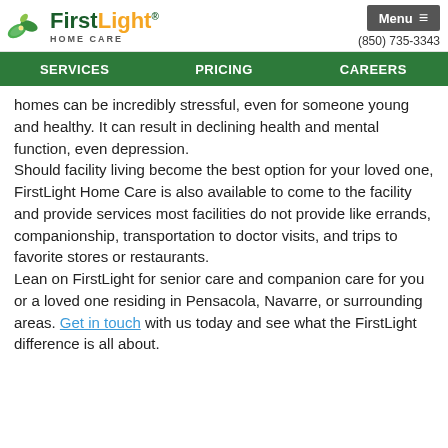FirstLight Home Care — Menu (850) 735-3343
SERVICES   PRICING   CAREERS
homes can be incredibly stressful, even for someone young and healthy. It can result in declining health and mental function, even depression.
Should facility living become the best option for your loved one, FirstLight Home Care is also available to come to the facility and provide services most facilities do not provide like errands, companionship, transportation to doctor visits, and trips to favorite stores or restaurants.
Lean on FirstLight for senior care and companion care for you or a loved one residing in Pensacola, Navarre, or surrounding areas. Get in touch with us today and see what the FirstLight difference is all about.